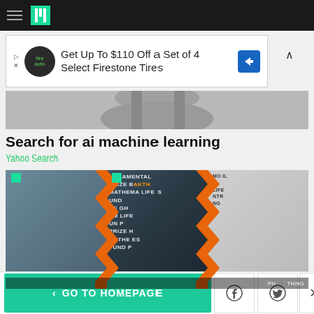HuffPost navigation bar with hamburger menu and logo
[Figure (screenshot): Advertisement banner: Get Up To $110 Off a Set of 4 Select Firestone Tires with Firestone Auto logo and arrow icon]
[Figure (photo): Partial cropped image, top of a content photo]
Search for ai machine learning
Yahoo Search
[Figure (photo): Photo collage of three women at events, separated by orange zigzag dividers. Left: woman in floral dress, center: woman in black dress at Breakthrough Prize event, right: woman in white dress at marquee event.]
< GO TO HOMEPAGE  [Facebook] [Twitter] [X]